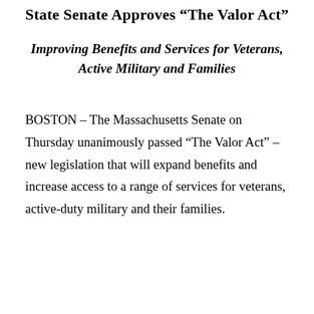State Senate Approves “The Valor Act”
Improving Benefits and Services for Veterans, Active Military and Families
BOSTON – The Massachusetts Senate on Thursday unanimously passed “The Valor Act” – new legislation that will expand benefits and increase access to a range of services for veterans, active-duty military and their families.